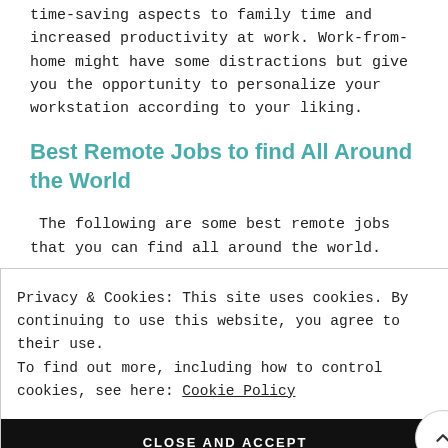time-saving aspects to family time and increased productivity at work. Work-from-home might have some distractions but give you the opportunity to personalize your workstation according to your liking.
Best Remote Jobs to find All Around the World
The following are some best remote jobs that you can find all around the world.
Privacy & Cookies: This site uses cookies. By continuing to use this website, you agree to their use.
To find out more, including how to control cookies, see here: Cookie Policy
CLOSE AND ACCEPT